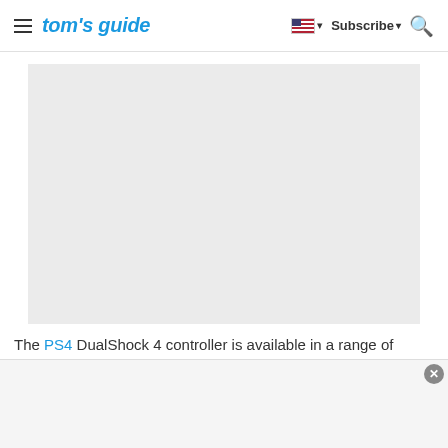tom's guide — Subscribe — Search
[Figure (photo): Large placeholder/loading image area with light gray background, representing a PS4 DualShock 4 controller image]
The PS4 DualShock 4 controller is available in a range of colors, so it's likely Sony will follow suit with the
[Figure (other): Advertisement overlay at bottom of page with close button]